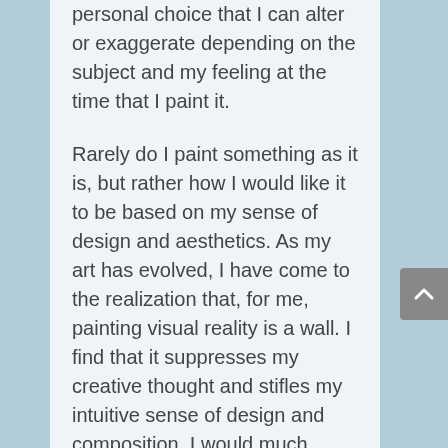personal choice that I can alter or exaggerate depending on the subject and my feeling at the time that I paint it.
Rarely do I paint something as it is, but rather how I would like it to be based on my sense of design and aesthetics. As my art has evolved, I have come to the realization that, for me, painting visual reality is a wall. I find that it suppresses my creative thought and stifles my intuitive sense of design and composition. I would much rather show the world my expressive and unique  artistic